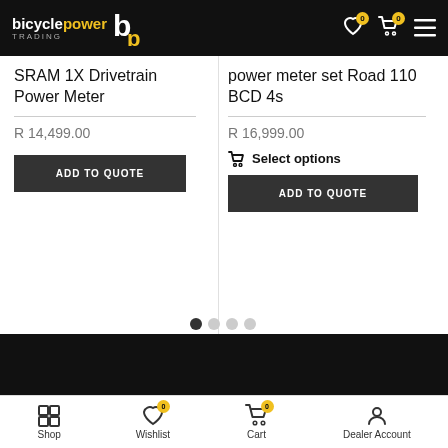bicycle power TRADING — logo header with wishlist, cart, menu icons
SRAM 1X Drivetrain Power Meter
R 14,499.00
ADD TO QUOTE
power meter set Road 110 BCD 4s
R 16,999.00
Select options
ADD TO QUOTE
Shop | Wishlist (0) | Cart (0) | Dealer Account